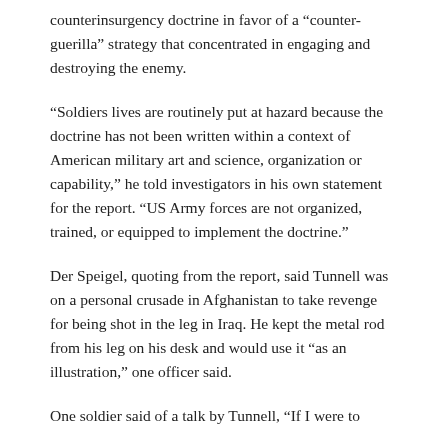counterinsurgency doctrine in favor of a “counter-guerilla” strategy that concentrated in engaging and destroying the enemy.
“Soldiers lives are routinely put at hazard because the doctrine has not been written within a context of American military art and science, organization or capability,” he told investigators in his own statement for the report. “US Army forces are not organized, trained, or equipped to implement the doctrine.”
Der Speigel, quoting from the report, said Tunnell was on a personal crusade in Afghanistan to take revenge for being shot in the leg in Iraq. He kept the metal rod from his leg on his desk and would use it “as an illustration,” one officer said.
One soldier said of a talk by Tunnell, “If I were to